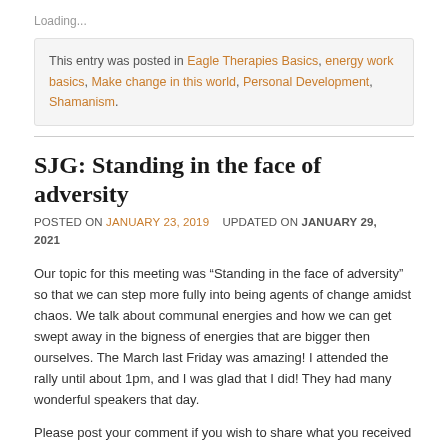Loading...
This entry was posted in Eagle Therapies Basics, energy work basics, Make change in this world, Personal Development, Shamanism.
SJG: Standing in the face of adversity
POSTED ON JANUARY 23, 2019   UPDATED ON JANUARY 29, 2021
Our topic for this meeting was “Standing in the face of adversity” so that we can step more fully into being agents of change amidst chaos. We talk about communal energies and how we can get swept away in the bigness of energies that are bigger then ourselves. The March last Friday was amazing! I attended the rally until about 1pm, and I was glad that I did! They had many wonderful speakers that day.
Please post your comment if you wish to share what you received in journey space. If you would like to join this discussion on Facebook, join our Journey Group on Facebook.